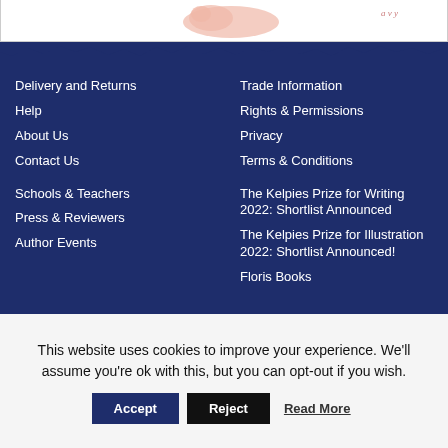[Figure (illustration): Top strip showing partial book cover illustration with pink piglet/animal figure and decorative text, white background with border]
Delivery and Returns
Help
About Us
Contact Us
Schools & Teachers
Press & Reviewers
Author Events
Trade Information
Rights & Permissions
Privacy
Terms & Conditions
The Kelpies Prize for Writing 2022: Shortlist Announced
The Kelpies Prize for Illustration 2022: Shortlist Announced!
Floris Books
This website uses cookies to improve your experience. We'll assume you're ok with this, but you can opt-out if you wish.
Accept | Reject | Read More